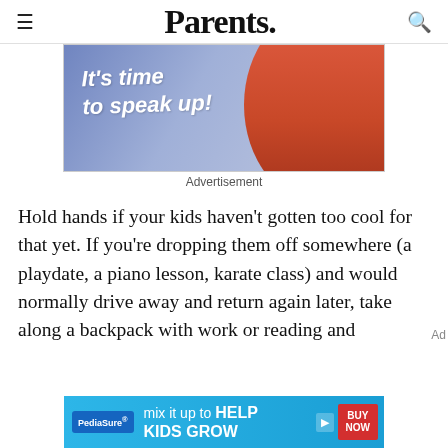Parents.
[Figure (photo): Advertisement image showing a person in a red sweater with arms crossed on a blue background, with white handwritten-style text reading 'It's time to speak up!']
Advertisement
Hold hands if your kids haven't gotten too cool for that yet. If you're dropping them off somewhere (a playdate, a piano lesson, karate class) and would normally drive away and return again later, take along a backpack with work or reading and
[Figure (photo): PediaSure advertisement banner with text 'mix it up to HELP KIDS GROW' and a BUY NOW button]